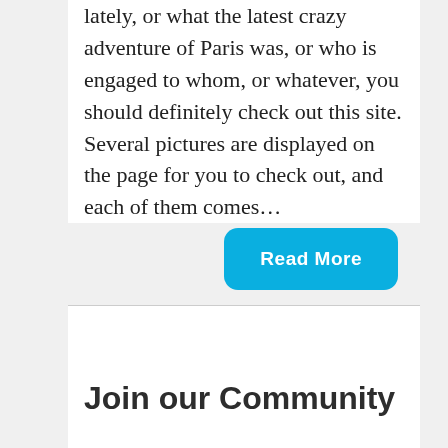lately, or what the latest crazy adventure of Paris was, or who is engaged to whom, or whatever, you should definitely check out this site. Several pictures are displayed on the page for you to check out, and each of them comes...
Read More
Join our Community